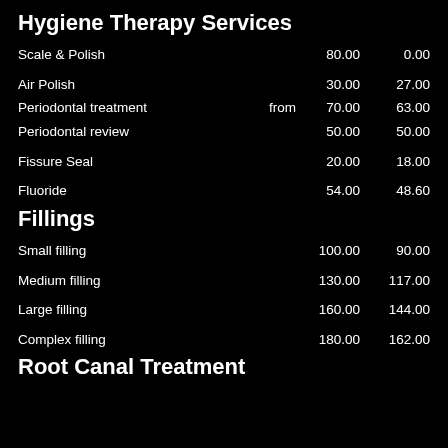Hygiene Therapy Services
| Service | Price | Discounted |
| --- | --- | --- |
| Scale & Polish | 80.00 | 0.00 |
| Air Polish | 30.00 | 27.00 |
| Periodontal treatment | from 70.00 | 63.00 |
| Periodontal review | 50.00 | 50.00 |
| Fissure Seal | 20.00 | 18.00 |
| Fluoride | 54.00 | 48.60 |
Fillings
| Service | Price | Discounted |
| --- | --- | --- |
| Small filling | 100.00 | 90.00 |
| Medium filling | 130.00 | 117.00 |
| Large filling | 160.00 | 144.00 |
| Complex filling | 180.00 | 162.00 |
Root Canal Treatment